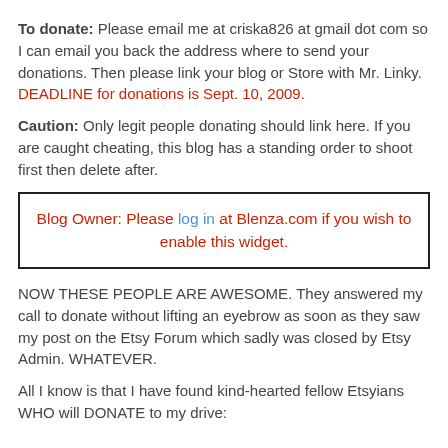To donate: Please email me at criska826 at gmail dot com so I can email you back the address where to send your donations. Then please link your blog or Store with Mr. Linky. DEADLINE for donations is Sept. 10, 2009.
Caution: Only legit people donating should link here. If you are caught cheating, this blog has a standing order to shoot first then delete after.
Blog Owner: Please log in at Blenza.com if you wish to enable this widget.
NOW THESE PEOPLE ARE AWESOME. They answered my call to donate without lifting an eyebrow as soon as they saw my post on the Etsy Forum which sadly was closed by Etsy Admin. WHATEVER.
All I know is that I have found kind-hearted fellow Etsyians WHO will DONATE to my drive: